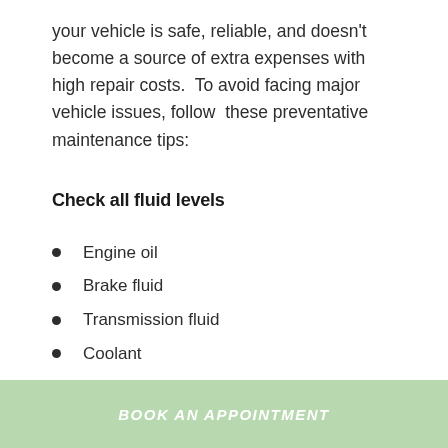your vehicle is safe, reliable, and doesn't become a source of extra expenses with high repair costs.  To avoid facing major vehicle issues, follow  these preventative maintenance tips:
Check all fluid levels
Engine oil
Brake fluid
Transmission fluid
Coolant
BOOK AN APPOINTMENT